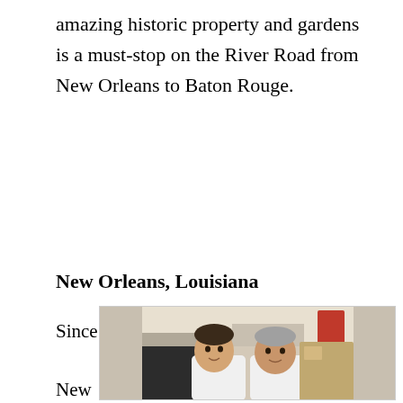amazing historic property and gardens is a must-stop on the River Road from New Orleans to Baton Rouge.
New Orleans, Louisiana
Since
New
[Figure (photo): Two men smiling in what appears to be a restaurant or kitchen setting, with equipment visible in the background.]